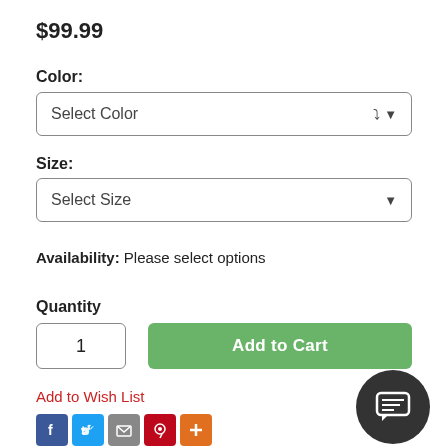$99.99
Color:
Select Color
Size:
Select Size
Availability: Please select options
Quantity
1
Add to Cart
Add to Wish List
[Figure (infographic): Social sharing icon buttons: Facebook, Twitter, Email, Pinterest, Plus]
[Figure (infographic): Dark circular chat/messaging button icon]